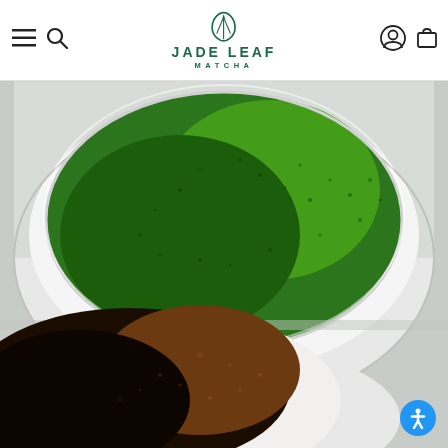Jade Leaf Matcha - Navigation header with menu, search, logo, account and cart icons
[Figure (photo): Overhead view of two ceramic cups on white saucers: top cup contains bright green matcha tea with frothy bubbles, bottom cup contains dark espresso/coffee with brown crema, photographed against a light gray surface. Jade Leaf Matcha website screenshot.]